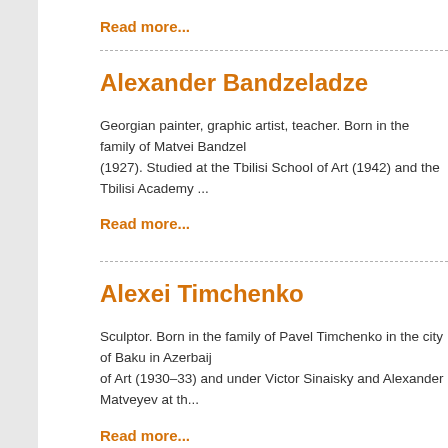Read more...
Alexander Bandzeladze
Georgian painter, graphic artist, teacher. Born in the family of Matvei Bandzel (1927). Studied at the Tbilisi School of Art (1942) and the Tbilisi Academy ...
Read more...
Alexei Timchenko
Sculptor. Born in the family of Pavel Timchenko in the city of Baku in Azerbaij of Art (1930–33) and under Victor Sinaisky and Alexander Matveyev at th...
Read more...